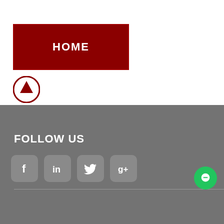[Figure (screenshot): Dark red HOME button with white bold text]
[Figure (illustration): Dark red circle with upward arrow icon]
FOLLOW US
[Figure (illustration): Social media icons: Facebook, LinkedIn, Twitter, Google+]
Legal    Privacy    Terms & Conditions
©2017 Crossroads Technologies, Inc..